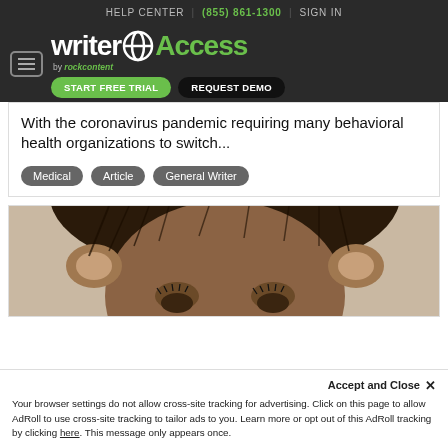HELP CENTER | (855) 861-1300 | SIGN IN
[Figure (logo): WriterAccess by rockcontent logo with hamburger menu, START FREE TRIAL and REQUEST DEMO buttons on dark background]
With the coronavirus pandemic requiring many behavioral health organizations to switch...
Medical
Article
General Writer
[Figure (photo): Close-up photo of a chimpanzee face, partially cropped]
Accept and Close ✕
Your browser settings do not allow cross-site tracking for advertising. Click on this page to allow AdRoll to use cross-site tracking to tailor ads to you. Learn more or opt out of this AdRoll tracking by clicking here. This message only appears once.